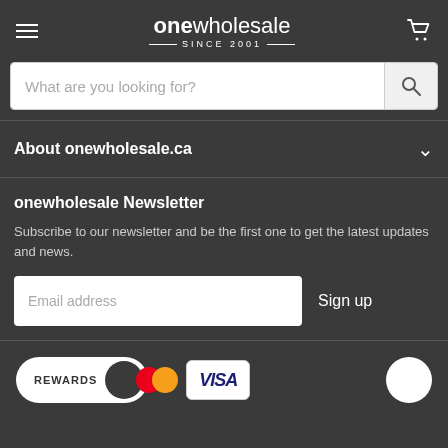onewholesale SINCE 2001
What are you looking for?
About onewholesale.ca
onewholesale Newsletter
Subscribe to our newsletter and be the first one to get the latest updates and news.
Email address
Sign up
[Figure (logo): Rewards toggle with circle, Mastercard logo, and Visa card logo]
[Figure (illustration): Chat bubble icon]